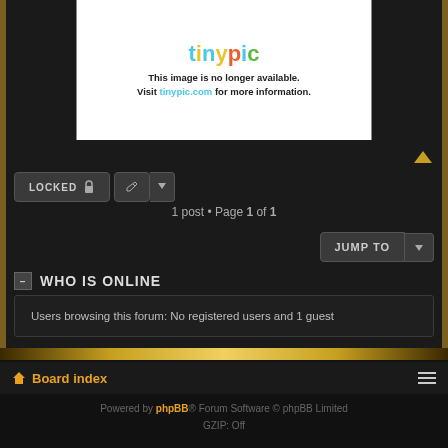[Figure (screenshot): Tinypic placeholder image showing 'This image is no longer available. Visit tinypic.com for more information.']
LOCKED
1 post • Page 1 of 1
JUMP TO
WHO IS ONLINE
Users browsing this forum: No registered users and 1 guest
Board index
Powered by phpBB® Forum Software © phpBB Limited
GZIP: Off